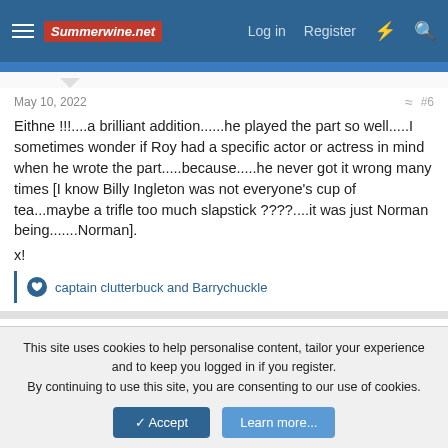Summerwine.net — Log in | Register
May 10, 2022
Eithne !!!....a brilliant addition......he played the part so well.....I sometimes wonder if Roy had a specific actor or actress in mind when he wrote the part.....because.....he never got it wrong many times [I know Billy Ingleton was not everyone's cup of tea...maybe a trifle too much slapstick ????....it was just Norman being.......Norman].
x!
captain clutterbuck and Barrychuckle
captain clutterbuck
This site uses cookies to help personalise content, tailor your experience and to keep you logged in if you register.
By continuing to use this site, you are consenting to our use of cookies.